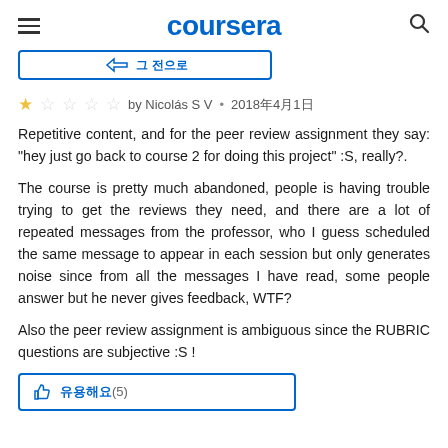coursera
[Figure (screenshot): Partial view of a button with blue border, partially visible]
by Nicolás S V • 2018年4月1日
Repetitive content, and for the peer review assignment they say: "hey just go back to course 2 for doing this project" :S, really?.
The course is pretty much abandoned, people is having trouble trying to get the reviews they need, and there are a lot of repeated messages from the professor, who I guess scheduled the same message to appear in each session but only generates noise since from all the messages I have read, some people answer but he never gives feedback, WTF?
Also the peer review assignment is ambiguous since the RUBRIC questions are subjective :S !
[Figure (screenshot): Bottom portion of a button with blue border showing a thumbs up icon and text partially visible]